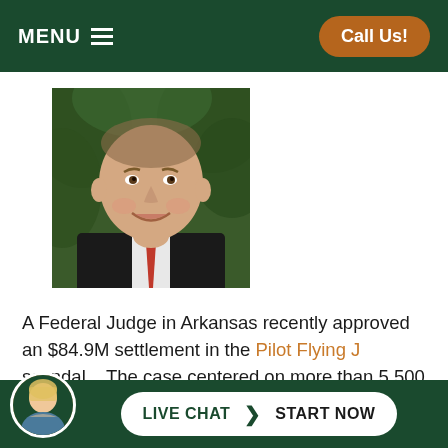MENU  |  Call Us!
[Figure (photo): Headshot of a middle-aged man in a dark suit with a red tie, smiling, with green foliage in background]
A Federal Judge in Arkansas recently approved an $84.9M settlement in the Pilot Flying J scandal.   The case centered on more than 5,500 truckers who were promised rebates by Pilot Flying J, the nation's largest retailer of diesel fuel, but never paid the promised rebates. Judge...
LIVE CHAT  START NOW